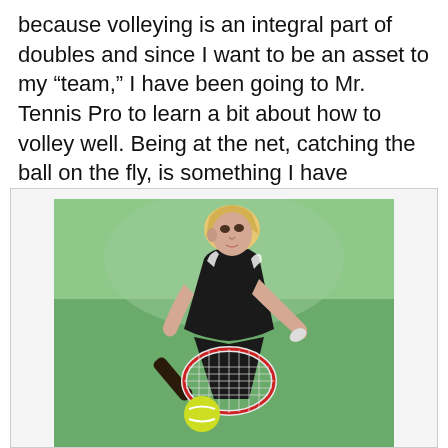because volleying is an integral part of doubles and since I want to be an asset to my “team,” I have been going to Mr. Tennis Pro to learn a bit about how to volley well. Being at the net, catching the ball on the fly, is something I have avoided for all of my tennis life.
[Figure (photo): A female tennis player in a black sleeveless top bending forward to volley a yellow tennis ball with a racket on a green court background.]